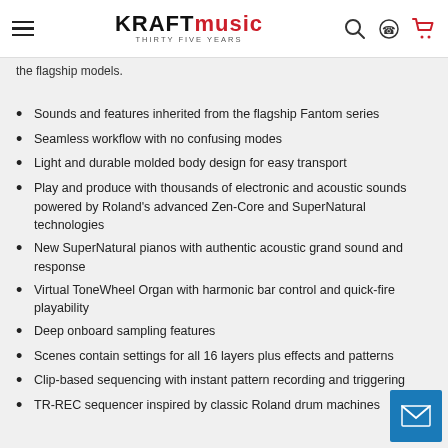Kraft Music — THIRTY FIVE YEARS
the flagship models.
Sounds and features inherited from the flagship Fantom series
Seamless workflow with no confusing modes
Light and durable molded body design for easy transport
Play and produce with thousands of electronic and acoustic sounds powered by Roland's advanced Zen-Core and SuperNatural technologies
New SuperNatural pianos with authentic acoustic grand sound and response
Virtual ToneWheel Organ with harmonic bar control and quick-fire playability
Deep onboard sampling features
Scenes contain settings for all 16 layers plus effects and patterns
Clip-based sequencing with instant pattern recording and triggering
TR-REC sequencer inspired by classic Roland drum machines